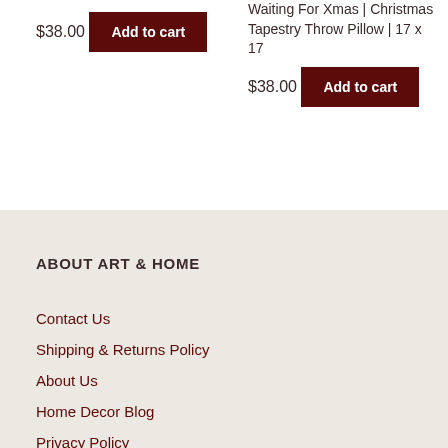$38.00
Add to cart
Waiting For Xmas | Christmas Tapestry Throw Pillow | 17 x 17
$38.00
Add to cart
ABOUT ART & HOME
Contact Us
Shipping & Returns Policy
About Us
Home Decor Blog
Privacy Policy
Terms & Conditions
Advertise on Art & Home